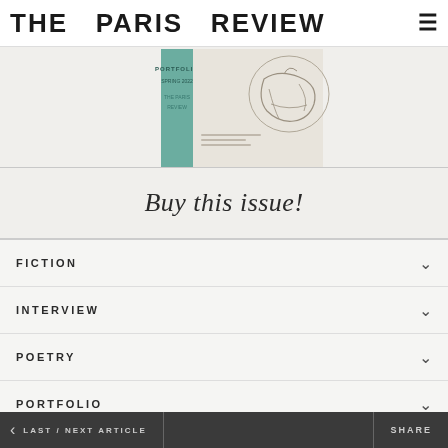THE PARIS REVIEW
[Figure (illustration): Partial view of a Paris Review issue, showing the top portion of a book/magazine with a teal spine and illustrated cover featuring a sketch of a figure, set against a light beige background]
Buy this issue!
FICTION
INTERVIEW
POETRY
PORTFOLIO
NONFICTION
Sarah Manguso
Perfection
< LAST / NEXT ARTICLE    SHARE